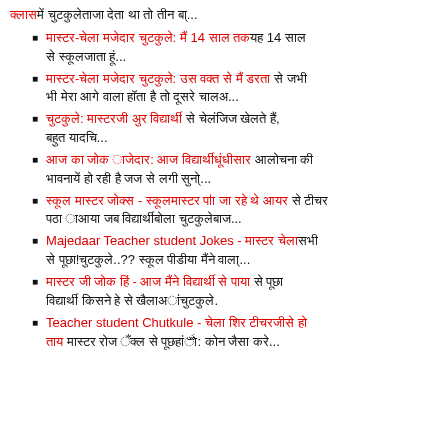[red text] [black Hindi text]...
[red Hindi text] on 14 [red Hindi] on 14 [black Hindi text]...
[red Hindi text] [black Hindi text]...
[red Hindi text] [black Hindi text].
[red Hindi text] [black Hindi text]...
[red Hindi text] [black Hindi text]...
Majedaar Teacher student Jokes - [red Hindi text]...?? [black Hindi text]...
[red Hindi text] [black Hindi text].
Teacher student Chutkule - [red Hindi text] [black Hindi text]: [black Hindi text]...